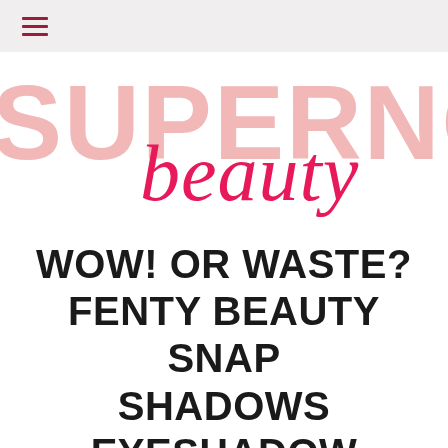≡
[Figure (logo): Supernova Beauty logo: large light pink block letters 'SUPERNOV' with hot pink cursive 'beauty' overlaid]
WOW! OR WASTE? FENTY BEAUTY SNAP SHADOWS EYESHADOW